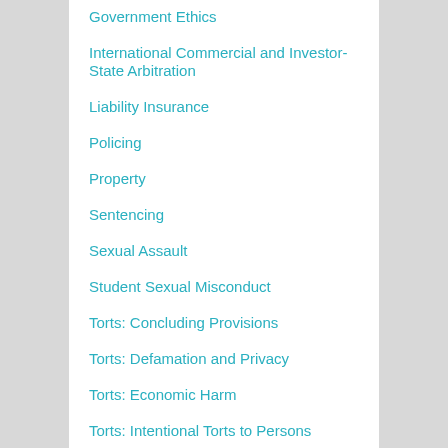Government Ethics
International Commercial and Investor-State Arbitration
Liability Insurance
Policing
Property
Sentencing
Sexual Assault
Student Sexual Misconduct
Torts: Concluding Provisions
Torts: Defamation and Privacy
Torts: Economic Harm
Torts: Intentional Torts to Persons
Torts: Remedies
Uniform Commercial Code